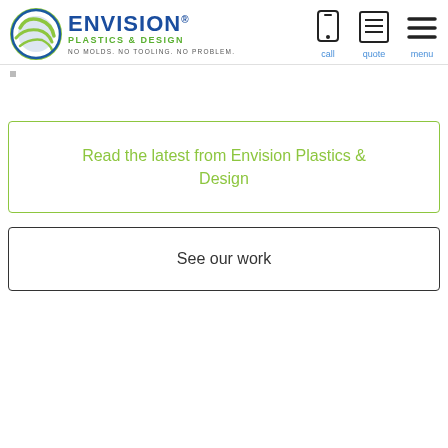[Figure (logo): Envision Plastics & Design logo with circular green globe icon, blue ENVISION text, green PLASTICS & DESIGN subtext, and tagline NO MOLDS. NO TOOLING. NO PROBLEM.]
[Figure (other): Navigation icons: mobile phone icon (call), notepad icon (quote), hamburger menu icon (menu)]
Read the latest from Envision Plastics & Design
See our work